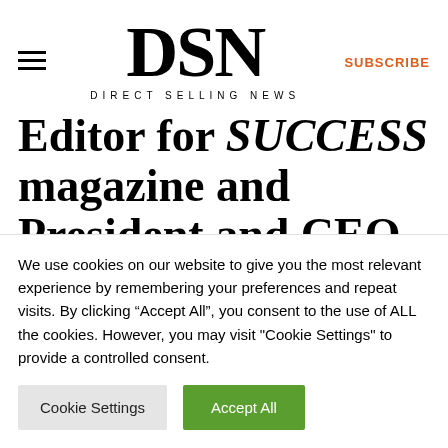DSN DIRECT SELLING NEWS SUBSCRIBE
Editor for SUCCESS magazine and President and CEO of Addison Leadership Group...
We use cookies on our website to give you the most relevant experience by remembering your preferences and repeat visits. By clicking “Accept All”, you consent to the use of ALL the cookies. However, you may visit "Cookie Settings" to provide a controlled consent.